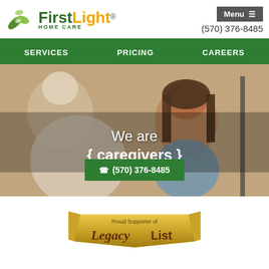FirstLight HOME CARE | Menu ≡ | (570) 376-8485
SERVICES | PRICING | CAREERS
[Figure (photo): A smiling woman caregiver with dark hair laughing with an elderly person, with text overlay 'We are { caregivers }' and a green button showing (570) 376-8485]
[Figure (logo): Proud Supporter of Legacy List banner in gold ribbon style]